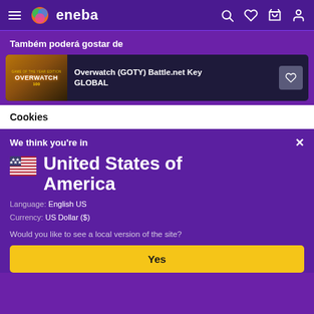eneba — navigation bar with hamburger menu, logo, search, wishlist, cart, account icons
Também poderá gostar de
[Figure (screenshot): Overwatch (GOTY) Battle.net Key GLOBAL product card with game cover art thumbnail and wishlist heart button]
Cookies
We think you're in
United States of America
Language: English US
Currency: US Dollar ($)
Would you like to see a local version of the site?
Yes